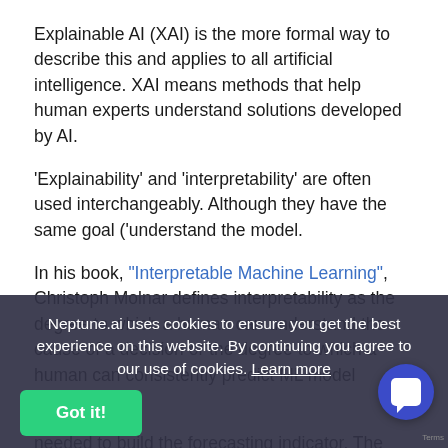Explainable AI (XAI) is the more formal way to describe this and applies to all artificial intelligence. XAI means methods that help human experts understand solutions developed by AI.
'Explainability' and 'interpretability' are often used interchangeably. Although they have the same goal ('understand the model.
In his book, "Interpretable Machine Learning", Christoph Molnar defines interpretability as the degree to which a human can understand the cause of a decision or the degree to which a human can consistently predict ML model results.
needed to build the forecasting indicator. The model might be interpretable — you can see w... ...ing. But it's not explainable yet. It wi... ...le once you dig into the data and f...
Neptune.ai uses cookies to ensure you get the best experience on this website. By continuing you agree to our use of cookies. Learn more